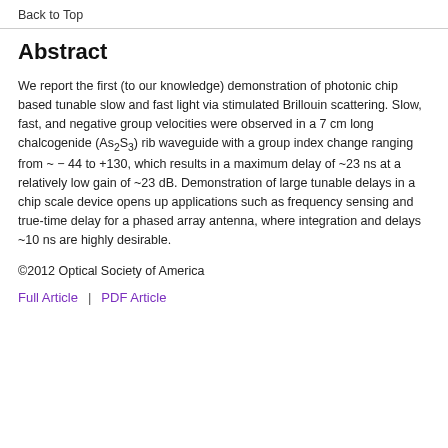Back to Top
Abstract
We report the first (to our knowledge) demonstration of photonic chip based tunable slow and fast light via stimulated Brillouin scattering. Slow, fast, and negative group velocities were observed in a 7 cm long chalcogenide (As₂S₃) rib waveguide with a group index change ranging from ~ − 44 to +130, which results in a maximum delay of ~23 ns at a relatively low gain of ~23 dB. Demonstration of large tunable delays in a chip scale device opens up applications such as frequency sensing and true-time delay for a phased array antenna, where integration and delays ~10 ns are highly desirable.
©2012 Optical Society of America
Full Article  |  PDF Article